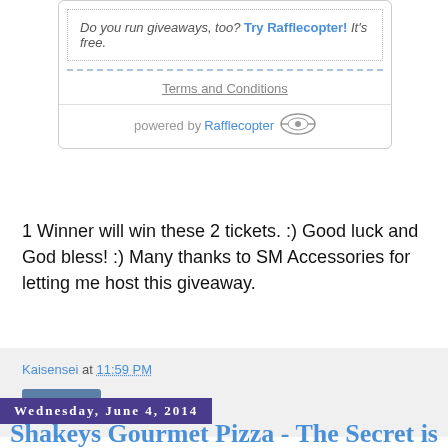[Figure (screenshot): Rafflecopter giveaway widget showing 'Do you run giveaways, too? Try Rafflecopter! It's free.' with Terms and Conditions link and powered by Rafflecopter branding]
1 Winner will win these 2 tickets. :) Good luck and God bless! :) Many thanks to SM Accessories for letting me host this giveaway.
Kaisensei at 11:59 PM
Share
Wednesday, June 4, 2014
Shakeys Gourmet Pizza - The Secret is